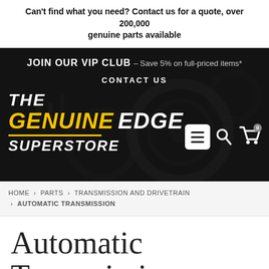Can't find what you need? Contact us for a quote, over 200,000 genuine parts available
[Figure (screenshot): The Genuine Edge Superstore website header with dark background showing automotive parts, VIP club banner, contact us link, logo with THE GENUINE EDGE SUPERSTORE in white and yellow, and navigation icons (menu, search, cart with 0 badge)]
HOME › PARTS › TRANSMISSION AND DRIVETRAIN › AUTOMATIC TRANSMISSION
Automatic Transmission